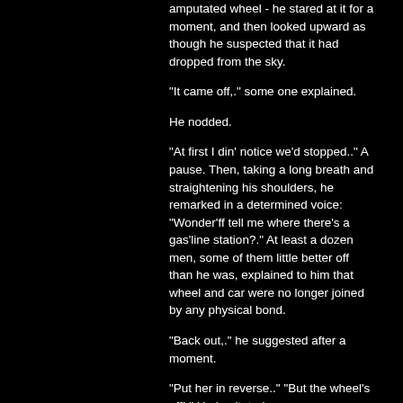amputated wheel - he stared at it for a moment, and then looked upward as though he suspected that it had dropped from the sky.
"It came off,." some one explained.
He nodded.
"At first I din' notice we'd stopped.." A pause. Then, taking a long breath and straightening his shoulders, he remarked in a determined voice: "Wonder'ff tell me where there's a gas'line station?." At least a dozen men, some of them little better off than he was, explained to him that wheel and car were no longer joined by any physical bond.
"Back out,." he suggested after a moment.
"Put her in reverse.." "But the wheel's off!." He hesitated.
"No harm in trying,." he said.
The caterwauling horns had